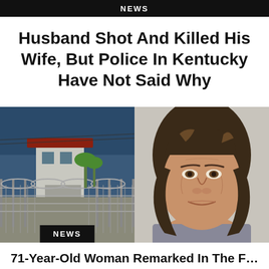NEWS
Husband Shot And Killed His Wife, But Police In Kentucky Have Not Said Why
[Figure (photo): Prison facility exterior with guard tower, razor wire fence, and palm trees in background]
[Figure (photo): Mugshot of middle-aged woman with brown/dark blonde hair against neutral background]
NEWS
71-Year-Old Woman Remarked In The F...